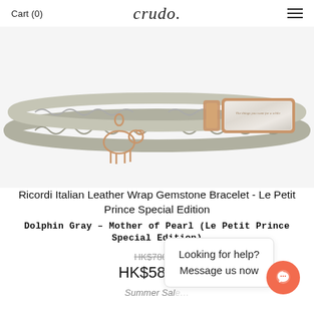Cart (0)   crudo   ☰
[Figure (photo): Gray braided Italian leather wrap bracelet with rose gold clasp, mother of pearl gemstone bar, and a rose gold sheep/lamb charm pendant. The bracelet is shown on a white background.]
Ricordi Italian Leather Wrap Gemstone Bracelet - Le Petit Prince Special Edition
Dolphin Gray – Mother of Pearl (Le Petit Prince Special Edition)
HK$780.00 HK$585.00
Summer Sale
Looking for help? Message us now